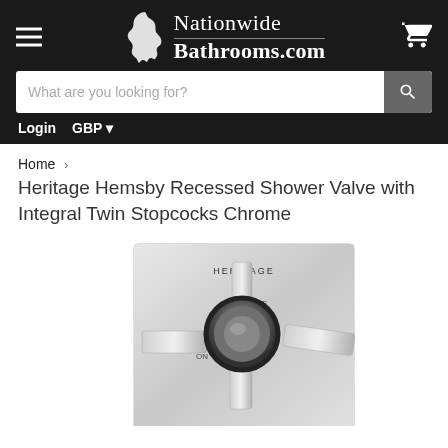[Figure (logo): Nationwide Bathrooms.com logo with UK map silhouette, hamburger menu icon, and shopping cart icon on dark background]
[Figure (screenshot): Search bar with placeholder text 'What are you looking for?' and search button]
Login   GBP ▾
Home › Heritage Hemsby Recessed Shower Valve with Integral Twin Stopcocks Chrome
Heritage Hemsby Recessed Shower Valve with Integral Twin Stopcocks Chrome
[Figure (photo): Chrome shower valve with cross handle and cylindrical control knob marked HERITAGE, OFF and ON labels visible, mounted on square chrome plate]